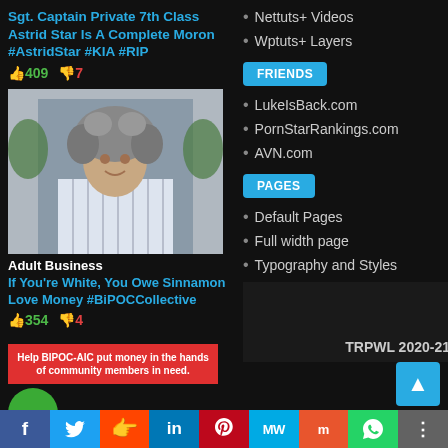Sgt. Captain Private 7th Class Astrid Star Is A Complete Moron #AstridStar #KIA #RIP
👍409  👎7
[Figure (photo): Photo of a woman with curly gray and dark hair wearing a white striped shirt]
Adult Business
If You're White, You Owe Sinnamon Love Money #BiPOCCollective
👍354  👎4
Nettuts+ Videos
Wptuts+ Layers
FRIENDS
LukeIsBack.com
PornStarRankings.com
AVN.com
PAGES
Default Pages
Full width page
Typography and Styles
[Figure (infographic): Red banner: Help BIPOC-AIC put money in the hands of community members in need. Green circle with chat icon below.]
TRPWL 2020-21
f  🐦  reddit  in  P  MW  mix  WhatsApp  share